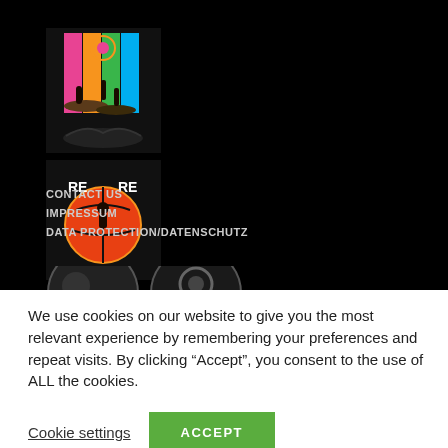[Figure (logo): Colorful sports/dance event logo with silhouettes of people on floating landmasses against colored vertical banner strips]
[Figure (logo): Basketball-themed logo with RE text and player graphic, REAL PLANET branding]
CONTACT US
IMPRESSUM
DATA PROTECTION/DATENSCHUTZ
[Figure (logo): Partial view of two circular logos at bottom of black section]
We use cookies on our website to give you the most relevant experience by remembering your preferences and repeat visits. By clicking “Accept”, you consent to the use of ALL the cookies.
Cookie settings
ACCEPT